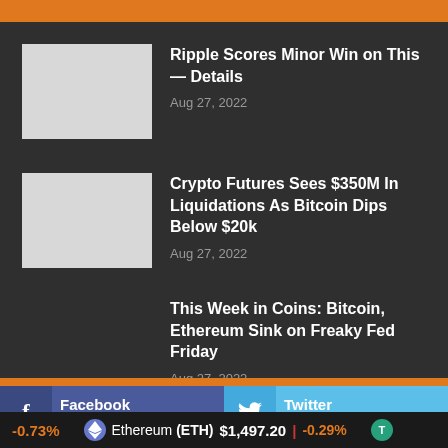Ripple Scores Minor Win on This — Details
Aug 27, 2022
Crypto Futures Sees $350M In Liquidations As Bitcoin Dips Below $20k
Aug 27, 2022
This Week in Coins: Bitcoin, Ethereum Sink on Freaky Fed Friday
Aug 27, 2022
Facebook
Join us on Facebook
Twitter
Join us on Twitter
Youtube
Instagram
-0.73% | Ethereum (ETH) $1,497.20 | -0.29%